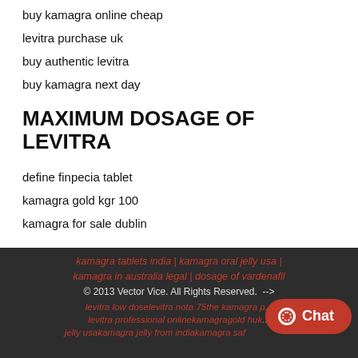buy kamagra online cheap
levitra purchase uk
buy authentic levitra
buy kamagra next day
MAXIMUM DOSAGE OF LEVITRA
define finpecia tablet
kamagra gold kgr 100
kamagra for sale dublin
kamagra tablets india | kamagra oral jelly usa | kamagra in australia legal | dosage of vardenafil © 2013 Vector Vice. All Rights Reserved.  --> levitra low doselevitra nota 75the kamagra p... levitra professional onlinekamagragold huk... jelly usakamagra jelly from indiakamagra saf...